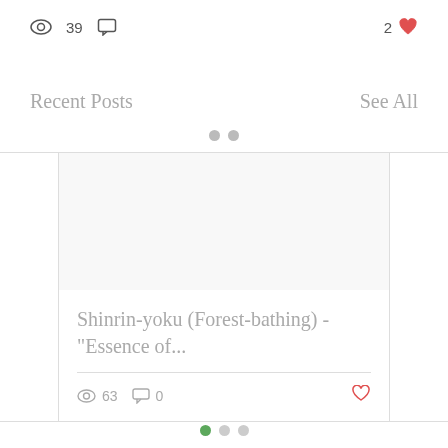39
2
Recent Posts
See All
[Figure (screenshot): Blog post card for 'Shinrin-yoku (Forest-bathing) - "Essence of...' with 63 views, 0 comments, and a heart icon]
Shinrin-yoku (Forest-bathing) - "Essence of...
63  0